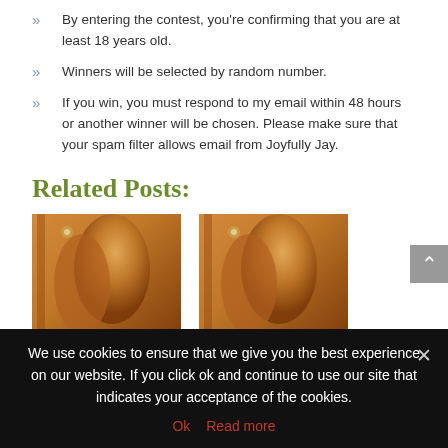By entering the contest, you're confirming that you are at least 18 years old.
Winners will be selected by random number.
If you win, you must respond to my email within 48 hours or another winner will be chosen. Please make sure that your spam filter allows email from Joyfully Jay.
Related Posts:
[Figure (photo): Book cover image showing figures]
[Figure (photo): Book cover image showing figures (duplicate)]
We use cookies to ensure that we give you the best experience on our website. If you click ok and continue to use our site that indicates your acceptance of the cookies.
Ok   Read more